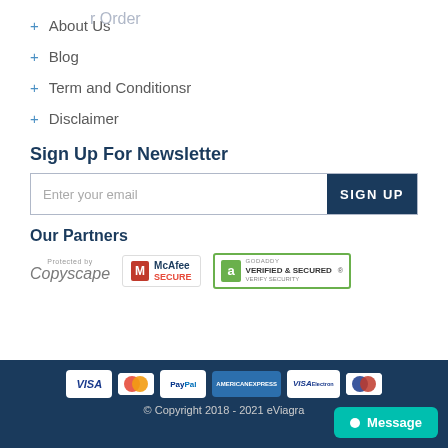+ About Us
+ Blog
+ Term and Conditionsr
+ Disclaimer
Sign Up For Newsletter
Enter your email | SIGN UP
Our Partners
[Figure (logo): Copyscape, McAfee SECURE, GoDaddy Verified & Secured partner logos]
[Figure (logo): Payment logos: VISA, MasterCard, PayPal, American Express, VISA Electron, Maestro]
© Copyright 2018 - 2021 eViagra